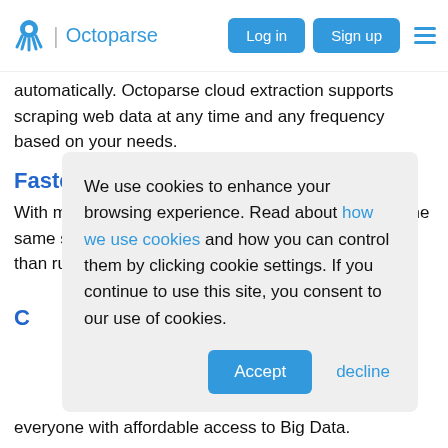Octoparse | Log in | Sign up
automatically. Octoparse cloud extraction supports scraping web data at any time and any frequency based on your needs.
Faster speed for data collection
With multiple cloud servers working simultaneously, the same set of data can speed up to 6-20 times faster than running on a local machine.
C
We use cookies to enhance your browsing experience. Read about how we use cookies and how you can control them by clicking cookie settings. If you continue to use this site, you consent to our use of cookies.
everyone with affordable access to Big Data.